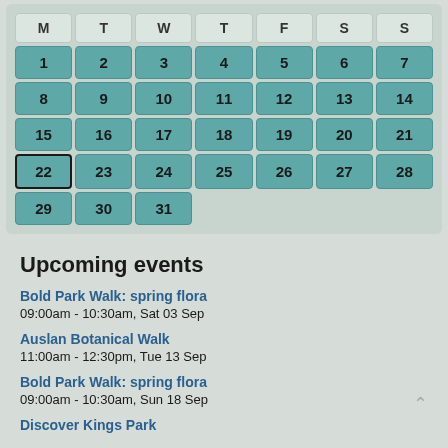| M | T | W | T | F | S | S |
| --- | --- | --- | --- | --- | --- | --- |
| 1 | 2 | 3 | 4 | 5 | 6 | 7 |
| 8 | 9 | 10 | 11 | 12 | 13 | 14 |
| 15 | 16 | 17 | 18 | 19 | 20 | 21 |
| 22 | 23 | 24 | 25 | 26 | 27 | 28 |
| 29 | 30 | 31 |  |  |  |  |
Upcoming events
Bold Park Walk: spring flora
09:00am - 10:30am, Sat 03 Sep
Auslan Botanical Walk
11:00am - 12:30pm, Tue 13 Sep
Bold Park Walk: spring flora
09:00am - 10:30am, Sun 18 Sep
Discover Kings Park